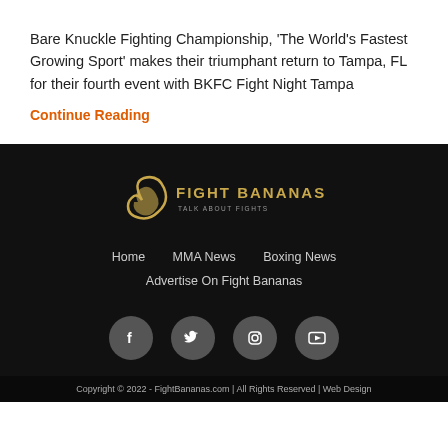Bare Knuckle Fighting Championship, ‘The World’s Fastest Growing Sport’ makes their triumphant return to Tampa, FL for their fourth event with BKFC Fight Night Tampa
Continue Reading
[Figure (logo): Fight Bananas logo with banana-shaped icon and text FIGHT BANANAS on dark background]
Home   MMA News   Boxing News   Advertise On Fight Bananas
[Figure (other): Social media icons: Facebook, Twitter, Instagram, YouTube in grey circles]
Copyright © 2022 - FightBananas.com | All Rights Reserved | Web Design